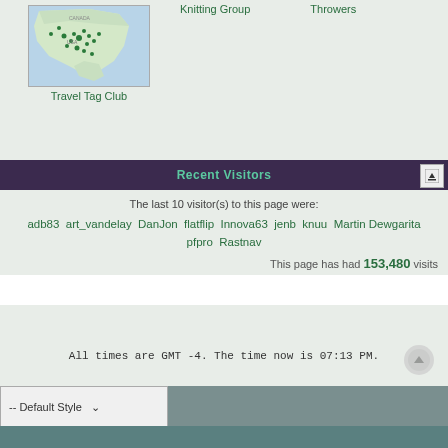Knitting Group
Throwers
[Figure (map): Map of North America with green marker dots showing Travel Tag Club locations]
Travel Tag Club
Recent Visitors
The last 10 visitor(s) to this page were:
adb83  art_vandelay  DanJon  flatflip  Innova63  jenb  knuu  Martin Dewgarita  pfpro  Rastnav
This page has had 153,480 visits
All times are GMT -4. The time now is 07:13 PM.